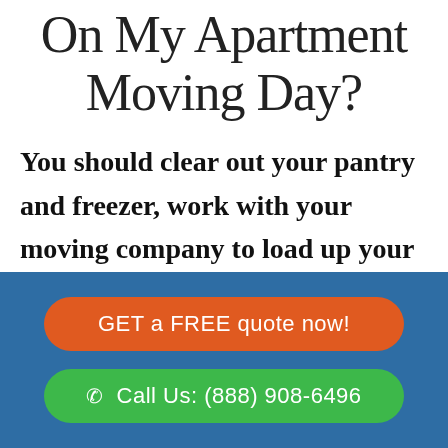On My Apartment Moving Day?
You should clear out your pantry and freezer, work with your moving company to load up your stuff, clean the apartment one last
GET a FREE quote now!
Call Us: (888) 908-6496